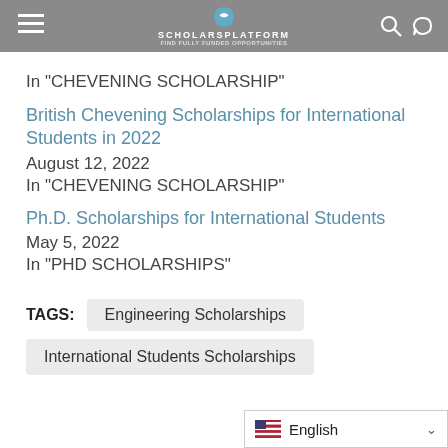SCHOLARSPLATFORM
In "CHEVENING SCHOLARSHIP"
British Chevening Scholarships for International Students in 2022
August 12, 2022
In "CHEVENING SCHOLARSHIP"
Ph.D. Scholarships for International Students
May 5, 2022
In "PHD SCHOLARSHIPS"
TAGS: Engineering Scholarships
International Students Scholarships
English